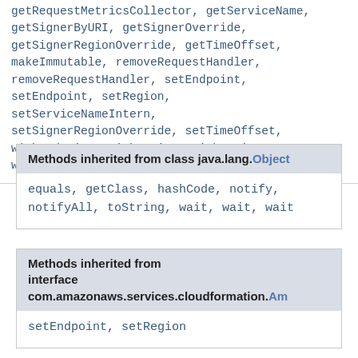getRequestMetricsCollector, getServiceName, getSignerByURI, getSignerOverride, getSignerRegionOverride, getTimeOffset, makeImmutable, removeRequestHandler, removeRequestHandler, setEndpoint, setEndpoint, setRegion, setServiceNameIntern, setSignerRegionOverride, setTimeOffset, withEndpoint, withRegion, withRegion, withTimeOffset
Methods inherited from class java.lang.Object
equals, getClass, hashCode, notify, notifyAll, toString, wait, wait, wait
Methods inherited from interface com.amazonaws.services.cloudformation.Am
setEndpoint, setRegion